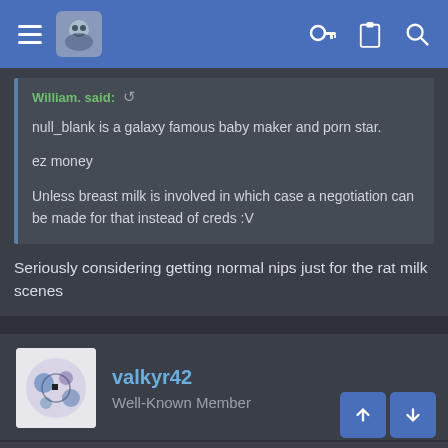Forum navigation header with hamburger menu, logo, key icon, clipboard icon, search icon
William. said: [reply icon]
null_blank is a galaxy famous baby maker and porn star.

ez money

Unless breast milk is involved in which case a negotiation can be made for that instead of creds :V
Seriously considering getting normal nips just for the rat milk scenes
valkyr42
Well-Known Member
Oct 30, 2018   #35
Honestly good on them for stealing my creds, I have way too many of the little bitches and I have funded all fundable waifus [dy]